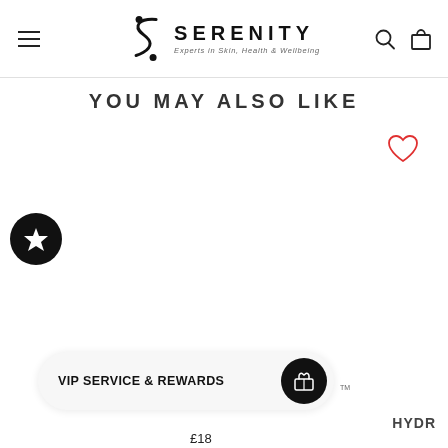SERENITY — Experts in Skin, Health & Wellbeing
YOU MAY ALSO LIKE
[Figure (illustration): Red heart/wishlist icon outline]
[Figure (illustration): Black circular badge with white star icon]
[Figure (illustration): VIP SERVICE & REWARDS pill bar with gift icon and TM mark]
HYDR
£18